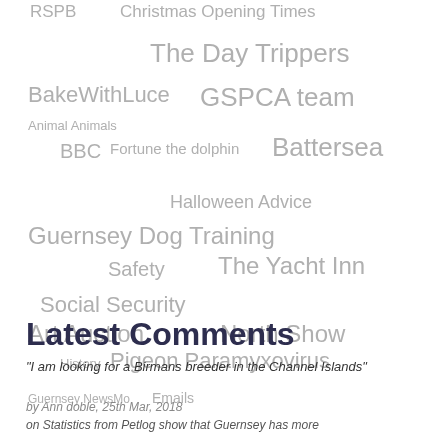[Figure (infographic): Tag cloud with various topics in different font sizes and shades of gray, including: RSPB, Christmas Opening Times, The Day Trippers, BakeWithLuce, GSPCA team, Animal Animals, BBC, Fortune the dolphin, Battersea, Halloween Advice, Guernsey Dog Training, Safety, The Yacht Inn, Social Security, Art Auction, North Show, History, Pigeon Paramyxovirus, Guernsey NewsMo, Emails]
Latest Comments
"I am looking for a Birmans breeder in the Channel Islands"
by Ann doble, 25th Mar, 2018
on Statistics from Petlog show that Guernsey has more